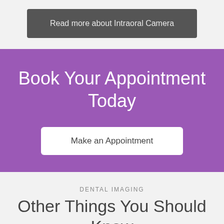Read more about Intraoral Camera
Book Your Appointment Today
Make an Appointment
DENTAL IMAGING
Other Things You Should Know